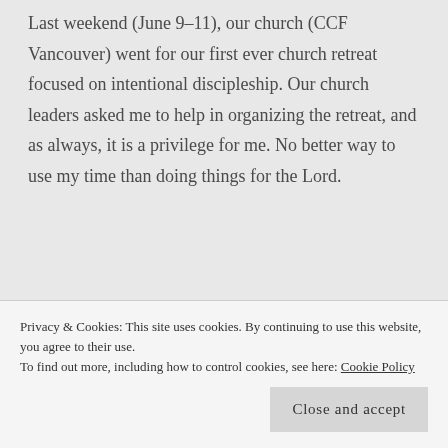Last weekend (June 9-11), our church (CCF Vancouver) went for our first ever church retreat focused on intentional discipleship. Our church leaders asked me to help in organizing the retreat, and as always, it is a privilege for me. No better way to use my time than doing things for the Lord.
Privacy & Cookies: This site uses cookies. By continuing to use this website, you agree to their use.
To find out more, including how to control cookies, see here: Cookie Policy
Close and accept